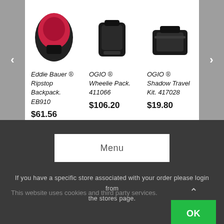[Figure (screenshot): Product carousel showing three items: Eddie Bauer Ripstop Backpack EB910, OGIO Wheelie Pack 411066, OGIO Shadow Travel Kit 417028, with left and right navigation arrows]
Eddie Bauer ® Ripstop Backpack. EB910
$61.56
OGIO ® Wheelie Pack. 411066
$106.20
OGIO ® Shadow Travel Kit. 417028
$19.80
Menu
If you have a specific store associated with your order please login from the stores page.
This website uses cookies and third party services.
OK